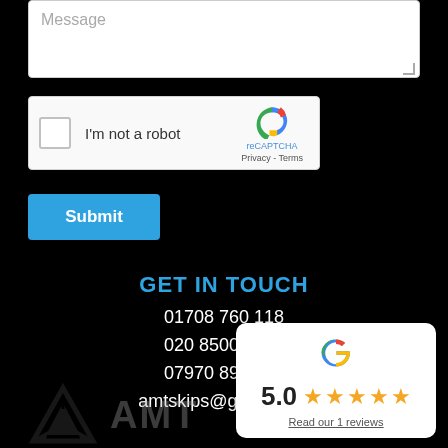[Figure (screenshot): Message textarea input box with placeholder text 'Message' and a resize handle in the bottom right corner]
[Figure (screenshot): Google reCAPTCHA widget with checkbox, 'I'm not a robot' text, reCAPTCHA logo, and Privacy/Terms links]
Submit
GET IN TOUCH
01708 760 118
020 8500 7682
07970 896 913
amtskips@gmail.com
[Figure (screenshot): Google review card showing rating 5.0 with 5 gold stars and 'Read our 1 reviews' link]
[Figure (logo): AMT Skips recycling logo with triangle recycling symbol and AMT text, shown in grey watermark style]